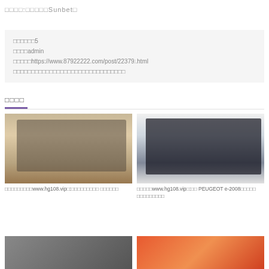□□□□:□□□□□Sunbet□
| □□□□□□5 |
| □□□□admin |
| □□□□□https://www.87922222.com/post/22379.html |
| □□□□□□□□□□□□□□□□□□□□□□□□□□□□□□□ |
□□□□
[Figure (photo): Computer workstation with iMac, laptop, plant and keyboard on wooden desk]
□□□□□□□□□www.hg108.vip□:□□□□□□□□□ □□□□□□
[Figure (photo): Two large monitors displaying design/photo software on a desk with plant and keyboard]
□□□□□www.hg108.vip□:□□ PEUGEOT e-2008□□□□□ □□□□□□□□□
[Figure (photo): Bottom left image - dark toned photo]
[Figure (photo): Bottom right image - orange/red toned photo]